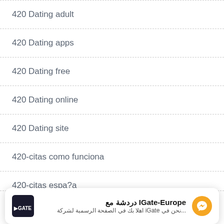420 Dating adult
420 Dating apps
420 Dating free
420 Dating online
420 Dating site
420-citas como funciona
420-citas espa?a
420-dating-de bewertung
[Figure (screenshot): IGate-Europe chat notification bar with Arabic text and Messenger icon]
420-dating-de visitors